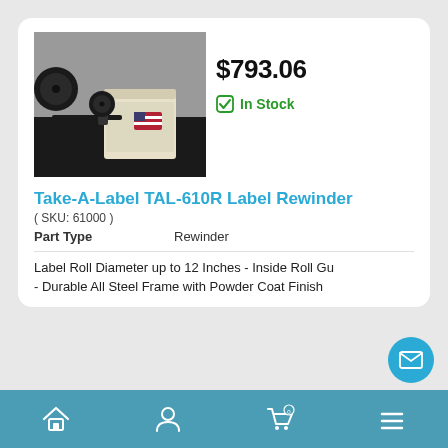[Figure (photo): Label rewinder machine (Take-A-Label TAL-610R) with black reel/spool on a cream/beige steel base, shown on dark background]
$793.06
In Stock
Take-A-Label TAL-610R Label Rewinder
( SKU: 61000 )
| Part Type |  |
| --- | --- |
| Part Type | Rewinder |
Label Roll Diameter up to 12 Inches - Inside Roll Gu- - Durable All Steel Frame with Powder Coat Finish
Home | Account | Cart | Menu